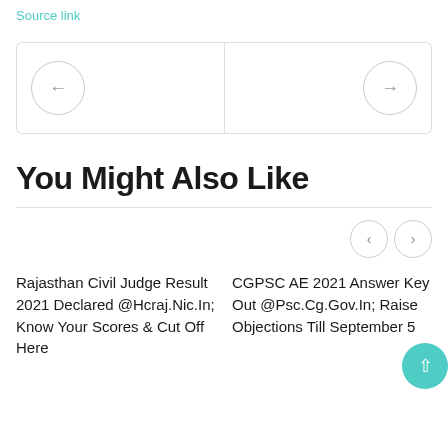Source link
[Figure (other): Navigation carousel with left arrow button on left side and right arrow button on right side, separated by a vertical divider line, inside a rounded rectangle border.]
You Might Also Like
[Figure (other): Small previous and next navigation buttons aligned to the right, and a teal scroll-to-top circular button.]
Rajasthan Civil Judge Result 2021 Declared @Hcraj.Nic.In; Know Your Scores & Cut Off Here
CGPSC AE 2021 Answer Key Out @Psc.Cg.Gov.In; Raise Objections Till September 5